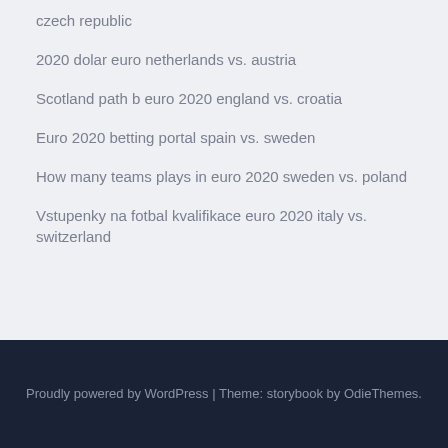czech republic
2020 dolar euro netherlands vs. austria
Scotland path b euro 2020 england vs. croatia
Euro 2020 betting portal spain vs. sweden
How many teams plays in euro 2020 sweden vs. poland
Vstupenky na fotbal kvalifikace euro 2020 italy vs. switzerland
Proudly powered by WordPress | Theme: storybook by OdieThemes.